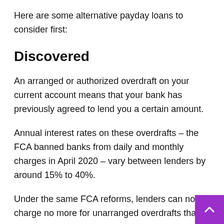Here are some alternative payday loans to consider first:
Discovered
An arranged or authorized overdraft on your current account means that your bank has previously agreed to lend you a certain amount.
Annual interest rates on these overdrafts – the FCA banned banks from daily and monthly charges in April 2020 – vary between lenders by around 15% to 40%.
Under the same FCA reforms, lenders can now charge no more for unarranged overdrafts than